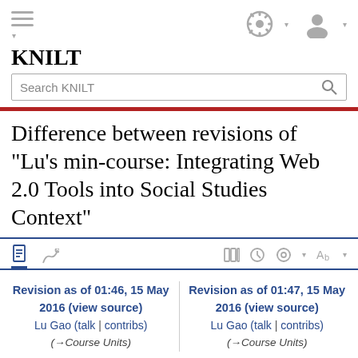KNILT
Search KNILT
Difference between revisions of "Lu's min-course: Integrating Web 2.0 Tools into Social Studies Context"
Revision as of 01:46, 15 May 2016 (view source)
Lu Gao (talk | contribs)
(→Course Units)
Revision as of 01:47, 15 May 2016 (view source)
Lu Gao (talk | contribs)
(→Course Units)